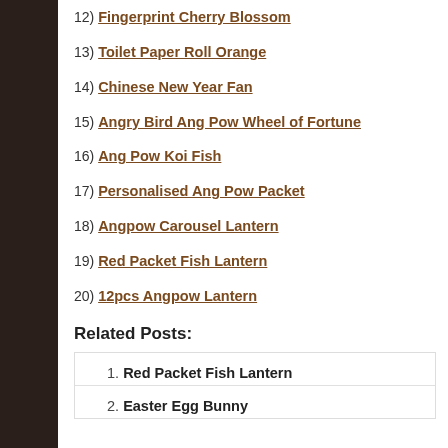12) Fingerprint Cherry Blossom
13) Toilet Paper Roll Orange
14) Chinese New Year Fan
15) Angry Bird Ang Pow Wheel of Fortune
16) Ang Pow Koi Fish
17) Personalised Ang Pow Packet
18) Angpow Carousel Lantern
19) Red Packet Fish Lantern
20) 12pcs Angpow Lantern
Related Posts:
1. Red Packet Fish Lantern
2. Easter Egg Bunny